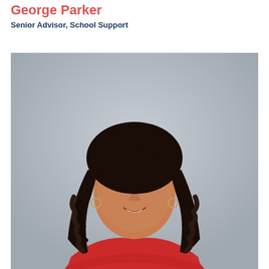George Parker
Senior Advisor, School Support
[Figure (photo): Professional headshot of a woman with long dark curly hair, wearing a red short-sleeve dress, arms crossed, smiling, against a grey background.]